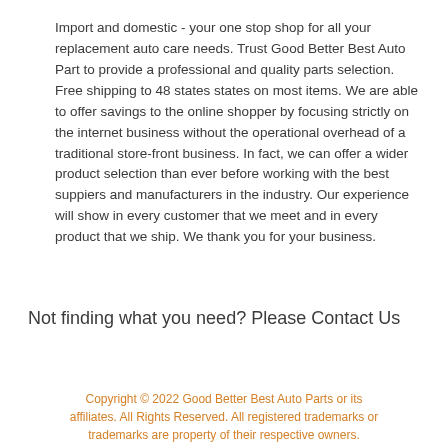Import and domestic - your one stop shop for all your replacement auto care needs. Trust Good Better Best Auto Part to provide a professional and quality parts selection. Free shipping to 48 states states on most items. We are able to offer savings to the online shopper by focusing strictly on the internet business without the operational overhead of a traditional store-front business. In fact, we can offer a wider product selection than ever before working with the best suppiers and manufacturers in the industry. Our experience will show in every customer that we meet and in every product that we ship. We thank you for your business.
Not finding what you need? Please Contact Us
Copyright © 2022 Good Better Best Auto Parts or its affiliates. All Rights Reserved. All registered trademarks or trademarks are property of their respective owners.